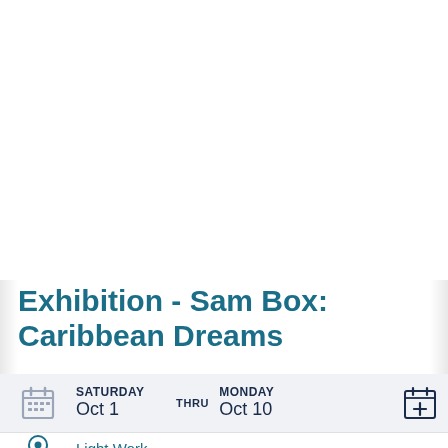Exhibition - Sam Box: Caribbean Dreams
SATURDAY Oct 1 THRU MONDAY Oct 10
Light Work